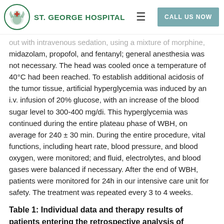St. George Hospital | CALL US NOW
out with intravenous sedation, using a mixture of morphine, midazolam, propofol, and fentanyl; general anesthesia was not necessary. The head was cooled once a temperature of 40°C had been reached. To establish additional acidosis of the tumor tissue, artificial hyperglycemia was induced by an i.v. infusion of 20% glucose, with an increase of the blood sugar level to 300-400 mg/di. This hyperglycemia was continued during the entire plateau phase of WBH, on average for 240 ± 30 min. During the entire procedure, vital functions, including heart rate, blood pressure, and blood oxygen, were monitored; and fluid, electrolytes, and blood gases were balanced if necessary. After the end of WBH, patients were monitored for 24h in our intensive care unit for safety. The treatment was repeated every 3 to 4 weeks.
Table 1: Individual data and therapy results of patients entering the retrospective analysis of combined therapy